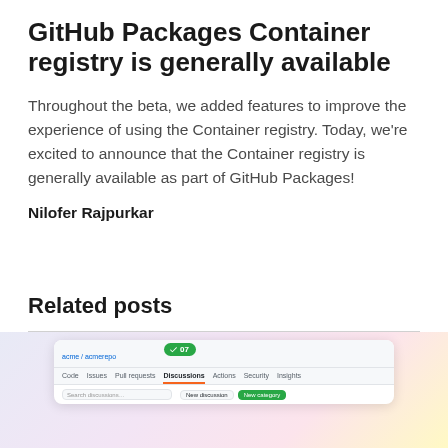GitHub Packages Container registry is generally available
Throughout the beta, we added features to improve the experience of using the Container registry. Today, we're excited to announce that the Container registry is generally available as part of GitHub Packages!
Nilofer Rajpurkar
Related posts
[Figure (screenshot): Screenshot of a GitHub repository interface showing a Discussions tab selected and a green badge displaying '07']